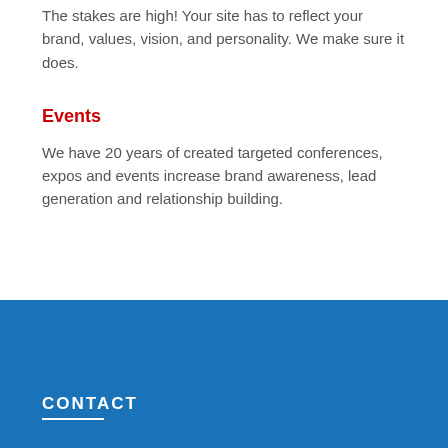The stakes are high! Your site has to reflect your brand, values, vision, and personality. We make sure it does.
Events
We have 20 years of created targeted conferences, expos and events increase brand awareness, lead generation and relationship building.
CONTACT